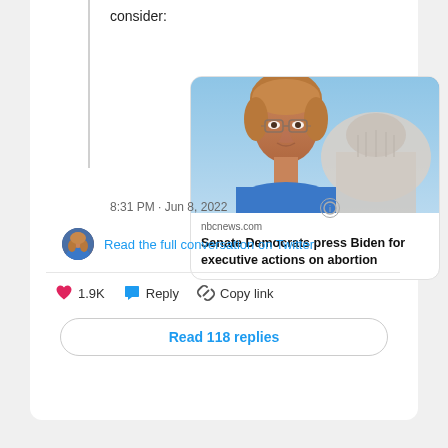consider:
[Figure (screenshot): Twitter/social media embedded link card showing a photo of a woman (senator) in front of the US Capitol dome, with link to nbcnews.com article titled 'Senate Democrats press Biden for executive actions on abortion']
nbcnews.com
Senate Democrats press Biden for executive actions on abortion
8:31 PM · Jun 8, 2022
Read the full conversation on Twitter
1.9K
Reply
Copy link
Read 118 replies